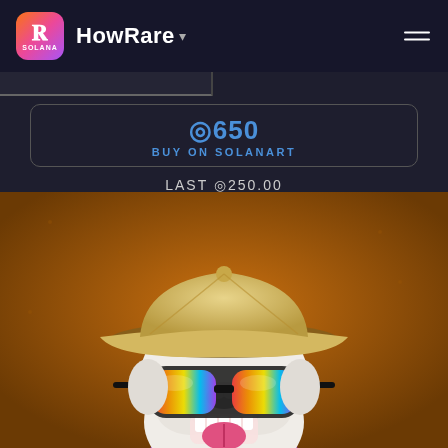HowRare
◎650
BUY ON SOLANART
LAST ◎250.00
[Figure (illustration): NFT artwork of a cartoon bulldog wearing a beige/tan baseball cap and large rainbow-mirrored wrap sunglasses, with purple shirt, on an orange-brown background. The bulldog has white fur, bared teeth, and a pink tongue.]